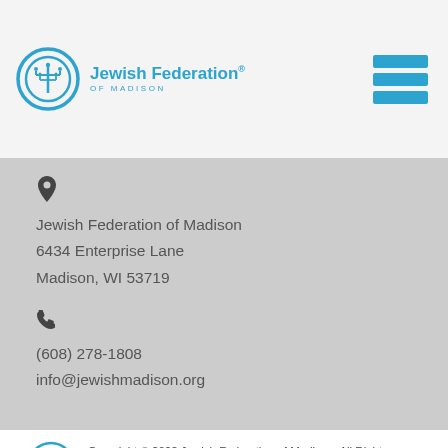Jewish Federation of Madison — header with logo and navigation menu
Jewish Federation of Madison
6434 Enterprise Lane
Madison, WI 53719
(608) 278-1808
info@jewishmadison.org
Copyright © 2022 Jewish Federation of Madison. All Rights Reserved.
Powered by FEDWEB ® Central
Privacy Policy